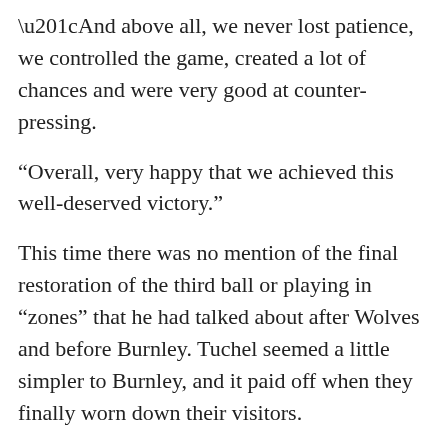“And above all, we never lost patience, we controlled the game, created a lot of chances and were very good at counter-pressing.
“Overall, very happy that we achieved this well-deserved victory.”
This time there was no mention of the final restoration of the third ball or playing in “zones” that he had talked about after Wolves and before Burnley. Tuchel seemed a little simpler to Burnley, and it paid off when they finally worn down their visitors.
The first goal came late in the first half when the Blues eventually took the lead and Alonso’s goal came late in the second half after Burnley was worn down for about 40 minutes.
The German head coach was rightly satisfied, but it will